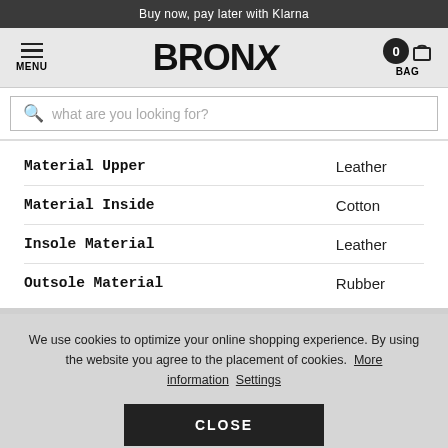Buy now, pay later with Klarna
[Figure (screenshot): Bronx shoe brand header with menu icon, BRONX logo, and bag icon showing 0 items]
what are you looking for?
| Material Upper | Leather |
| Material Inside | Cotton |
| Insole Material | Leather |
| Outsole Material | Rubber |
We use cookies to optimize your online shopping experience. By using the website you agree to the placement of cookies. More information Settings
CLOSE